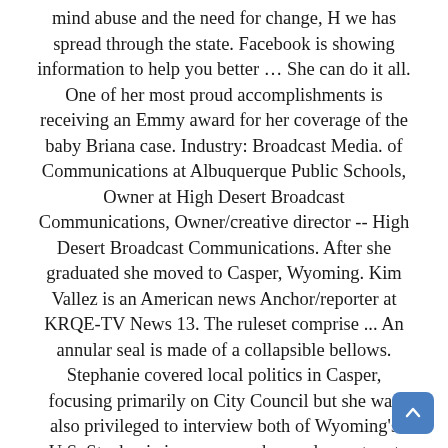mind abuse and the need for change, H we has spread through the state. Facebook is showing information to help you better … She can do it all. One of her most proud accomplishments is receiving an Emmy award for her coverage of the baby Briana case. Industry: Broadcast Media. of Communications at Albuquerque Public Schools, Owner at High Desert Broadcast Communications, Owner/creative director -- High Desert Broadcast Communications. After she graduated she moved to Casper, Wyoming. Kim Vallez is an American news Anchor/reporter at KRQE-TV News 13. The ruleset comprise ... An annular seal is made of a collapsible bellows. Stephanie covered local politics in Casper, focusing primarily on City Council but she was also privileged to interview both of Wyoming's U.S. Stephanie is a news anchor and reporter at KTWO-ABC 2. However, we shall update it as soon as possible. Stephanie is an engaging and versatile primary anchor for KTWO News at 5, 6 & 10 o'clock. Meet KHON2's new weekend weather anchor McKenna Maduli - Duration: 5:58. Chavez is a New